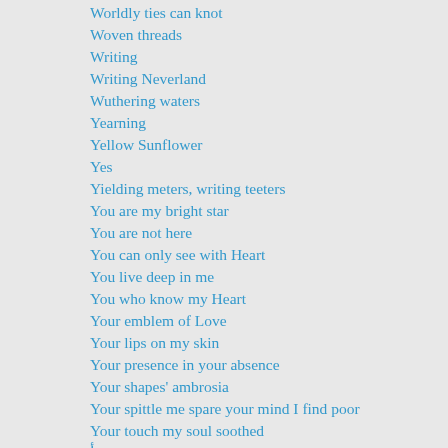Worldly ties can knot
Woven threads
Writing
Writing Neverland
Wuthering waters
Yearning
Yellow Sunflower
Yes
Yielding meters, writing teeters
You are my bright star
You are not here
You can only see with Heart
You live deep in me
You who know my Heart
Your emblem of Love
Your lips on my skin
Your presence in your absence
Your shapes' ambrosia
Your spittle me spare your mind I find poor
Your touch my soul soothed
د-أ